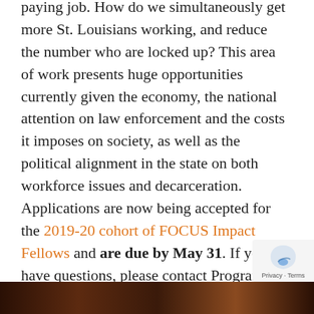and public health that is a family paying job. How do we simultaneously get more St. Louisians working, and reduce the number who are locked up? This area of work presents huge opportunities currently given the economy, the national attention on law enforcement and the costs it imposes on society, as well as the political alignment in the state on both workforce issues and decarceration. Applications are now being accepted for the 2019-20 cohort of FOCUS Impact Fellows and are due by May 31. If you have questions, please contact Program Director Dr. Wally Siewert at wallys@focus-stl.org or (314) 657-4026.
[Figure (photo): Bottom strip showing a dark brown/reddish scene, likely a photo thumbnail]